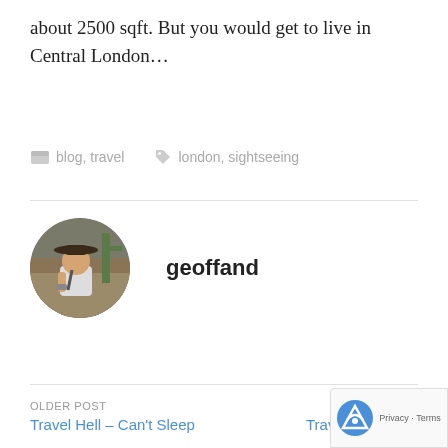about 2500 sqft. But you would get to live in Central London…
blog, travel    london, sightseeing
[Figure (photo): Circular avatar photo of author 'geoffand' — a man wearing a wide-brim hat outdoors with desert vegetation background]
geoffand
OLDER POST
Travel Hell – Can't Sleep
NEWER
Travel Log – E…